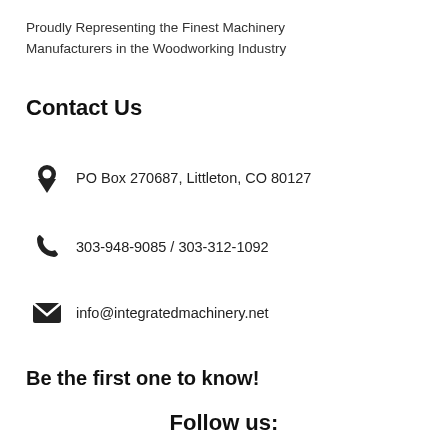Proudly Representing the Finest Machinery Manufacturers in the Woodworking Industry
Contact Us
PO Box 270687, Littleton, CO 80127
303-948-9085 / 303-312-1092
info@integratedmachinery.net
Be the first one to know!
Follow us: